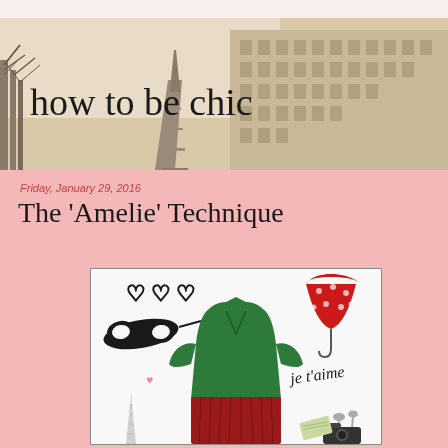how to be chic
Friday, January 29, 2016
The 'Amelie' Technique
[Figure (illustration): Fashion collage with a green wrap top, red pleated skirt, black masquerade mask, red polka-dot umbrella, Eiffel Tower illustration, pink hearts, 'je t'aime' text, camera, cutlery, and money on white background with border.]